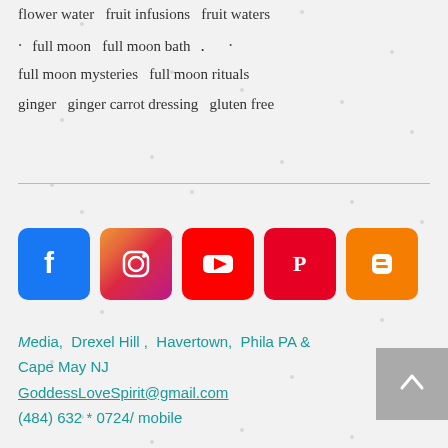flower water   fruit infusions   fruit waters
full moon   full moon bath.
full moon mysteries   full moon rituals
ginger   ginger carrot dressing   gluten free
[Figure (other): Social media icons: Facebook, Instagram, YouTube, Pinterest, Blogger]
Media,  Drexel Hill ,  Havertown,  Phila PA &  Cape May NJ
GoddessLoveSpirit@gmail.com
(484) 632 * 0724/ mobile